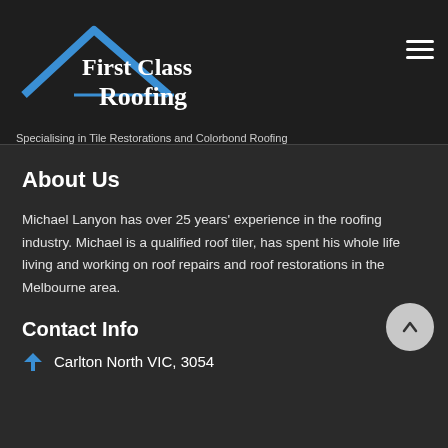[Figure (logo): First Class Roofing logo with blue roof/chevron shape above bold white text 'First Class Roofing']
Specialising in Tile Restorations and Colorbond Roofing
About Us
Michael Lanyon has over 25 years' experience in the roofing industry. Michael is a qualified roof tiler, has spent his whole life living and working on roof repairs and roof restorations in the Melbourne area.
Contact Info
Carlton North VIC, 3054